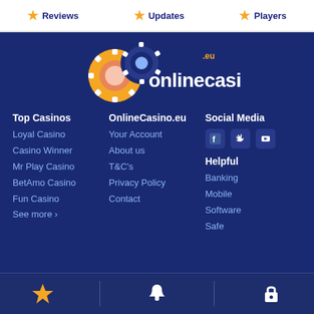Reviews | Updates | Players
[Figure (logo): OnlineCasino.eu logo with orange and blue casino chips]
Top Casinos
Loyal Casino
Casino Winner
Mr Play Casino
BetAmo Casino
Fun Casino
See more ›
OnlineCasino.eu
Your Account
About us
T&C's
Privacy Policy
Contact
Social Media
[Figure (infographic): Social media icons: Facebook, Twitter, YouTube]
Helpful
Banking
Mobile
Software
Safe
Star icon | Bell icon | Lock icon